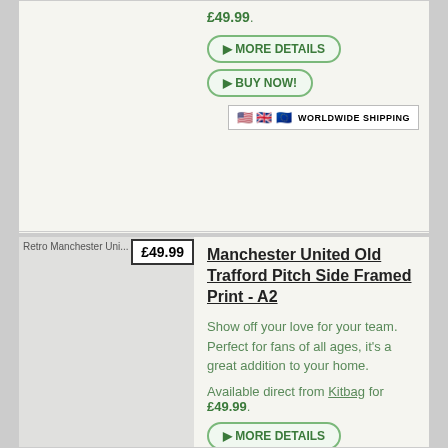£49.99.
MORE DETAILS
BUY NOW!
[Figure (infographic): Worldwide shipping badge with US, UK and EU flags]
[Figure (photo): Retro Manchester United product image]
£49.99
Manchester United Old Trafford Pitch Side Framed Print - A2
Show off your love for your team. Perfect for fans of all ages, it's a great addition to your home.
Available direct from Kitbag for £49.99.
MORE DETAILS
BUY NOW!
[Figure (infographic): Worldwide shipping badge with US, UK and EU flags]
[Figure (photo): Manchester United Old Trafford Forecourt at Night product image]
£49.99
Manchester United Old Trafford Forecourt at Night Framed Print - A2